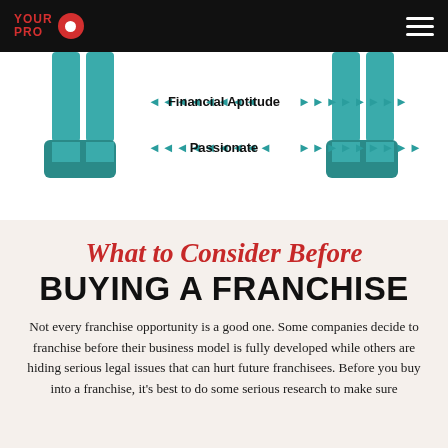Your Pro [logo] [hamburger menu]
[Figure (infographic): Partial infographic showing teal illustrated human figure legs on left and right sides, with arrows and labels 'Financial Aptitude' and 'Passionate' in the center]
What to Consider Before BUYING A FRANCHISE
Not every franchise opportunity is a good one. Some companies decide to franchise before their business model is fully developed while others are hiding serious legal issues that can hurt future franchisees. Before you buy into a franchise, it's best to do some serious research to make sure